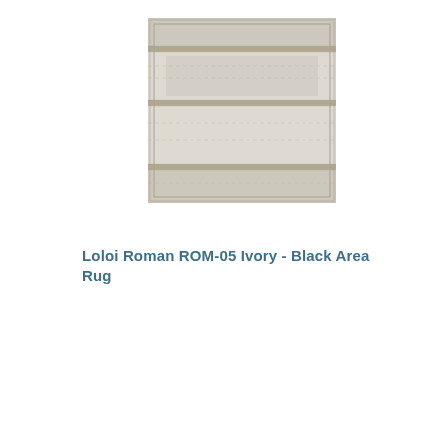[Figure (photo): Product photo of Loloi Roman ROM-05 Ivory - Black Area Rug, showing a rectangular rug with a pattern in ivory and black tones]
Loloi Roman ROM-05 Ivory - Black Area Rug